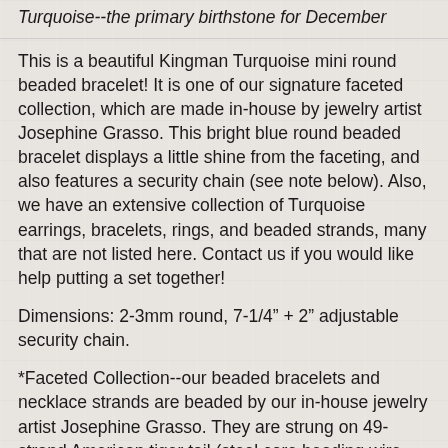Turquoise--the primary birthstone for December
This is a beautiful Kingman Turquoise mini round beaded bracelet! It is one of our signature faceted collection, which are made in-house by jewelry artist Josephine Grasso. This bright blue round beaded bracelet displays a little shine from the faceting, and also features a security chain (see note below). Also, we have an extensive collection of Turquoise earrings, bracelets, rings, and beaded strands, many that are not listed here. Contact us if you would like help putting a set together!
Dimensions: 2-3mm round, 7-1/4” + 2” adjustable security chain.
*Faceted Collection--our beaded bracelets and necklace strands are beaded by our in-house jewelry artist Josephine Grasso. They are strung on 49-strand American tiger tail (steel core beading wire with nylon outer), with sterling silver findings. Contact us if you are in search of a custom size or stone, and we will make it if possible.
*Security Chain: our faceted bracelets feature a unique